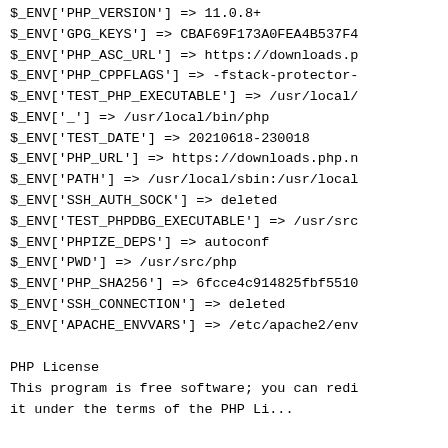$_ENV['PHP_VERSION'] => 11.0.8+
$_ENV['GPG_KEYS'] => CBAF69F173A0FEA4B537F4
$_ENV['PHP_ASC_URL'] => https://downloads.p
$_ENV['PHP_CPPFLAGS'] => -fstack-protector-
$_ENV['TEST_PHP_EXECUTABLE'] => /usr/local/
$_ENV['_'] => /usr/local/bin/php
$_ENV['TEST_DATE'] => 20210618-230018
$_ENV['PHP_URL'] => https://downloads.php.n
$_ENV['PATH'] => /usr/local/sbin:/usr/local
$_ENV['SSH_AUTH_SOCK'] => deleted
$_ENV['TEST_PHPDBG_EXECUTABLE'] => /usr/src
$_ENV['PHPIZE_DEPS'] => autoconf
$_ENV['PWD'] => /usr/src/php
$_ENV['PHP_SHA256'] => 6fcce4c914825fbf5510
$_ENV['SSH_CONNECTION'] => deleted
$_ENV['APACHE_ENVVARS'] => /etc/apache2/env
PHP License
This program is free software; you can redi
it under the terms of the PHP Li...